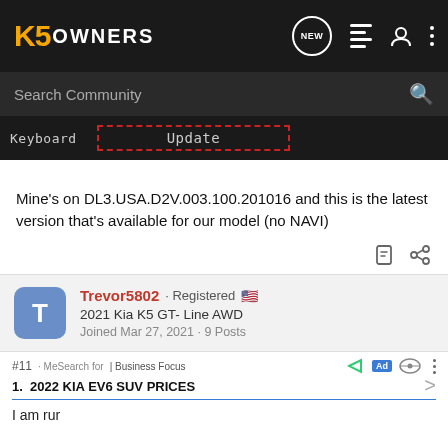K5 OWNERS
Search Community
[Figure (screenshot): Keyboard | Update button with red dashed outline highlight]
Mine's on DL3.USA.D2V.003.100.201016 and this is the latest version that's available for our model (no NAVI)
Trevor5802 · Registered
2021 Kia K5 GT- Line AWD
Joined Mar 27, 2021 · 9 Posts
#11 · MeSearch for | Business Focus
1. 2022 KIA EV6 SUV PRICES
I am rur